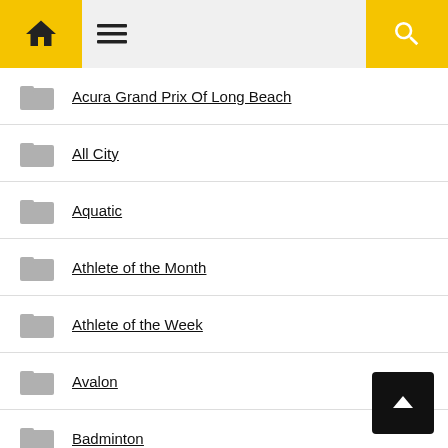Navigation bar with home, menu, and search icons
Acura Grand Prix Of Long Beach
All City
Aquatic
Athlete of the Month
Athlete of the Week
Avalon
Badminton
Baseball
Basketball
Beach FC